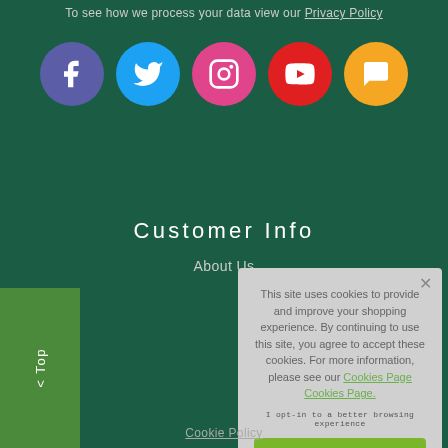To see how we process your data view our Privacy Policy
[Figure (illustration): Five social media icon circles: Facebook (purple), Twitter (blue), Instagram (pink), YouTube (red), Chat (orange)]
Customer Info
About Us
This site uses cookies to provide and improve your shopping experience. By continuing to use this site, you agree to accept these cookies. For more information, please see our Cookies Page Cookies Page.
I opt-in to a better browsing experience
ACCEPT COOKIES
Cookie Policy